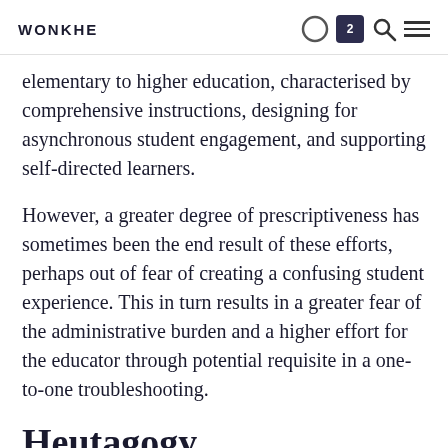WONKHE
elementary to higher education, characterised by comprehensive instructions, designing for asynchronous student engagement, and supporting self-directed learners.
However, a greater degree of prescriptiveness has sometimes been the end result of these efforts, perhaps out of fear of creating a confusing student experience. This in turn results in a greater fear of the administrative burden and a higher effort for the educator through potential requisite in a one-to-one troubleshooting.
Heutagogy